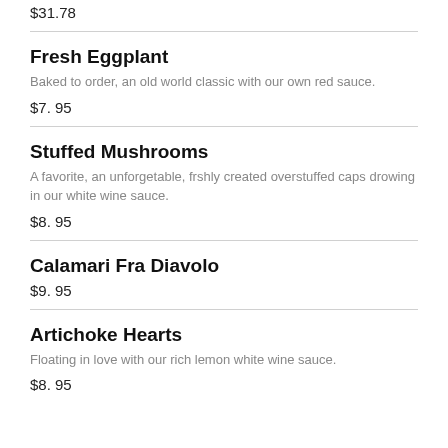$31.78
Fresh Eggplant
Baked to order, an old world classic with our own red sauce.
$7.95
Stuffed Mushrooms
A favorite, an unforgetable, frshly created overstuffed caps drowing in our white wine sauce.
$8.95
Calamari Fra Diavolo
$9.95
Artichoke Hearts
Floating in love with our rich lemon white wine sauce.
$8.95